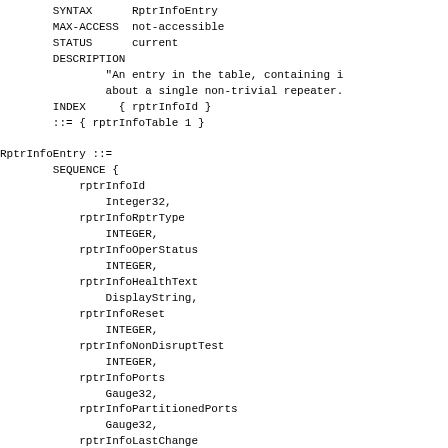SYNTAX      RptrInfoEntry
    MAX-ACCESS  not-accessible
    STATUS      current
    DESCRIPTION
            "An entry in the table, containing i
            about a single non-trivial repeater.
    INDEX     { rptrInfoId }
    ::= { rptrInfoTable 1 }

RptrInfoEntry ::=
    SEQUENCE {
        rptrInfoId
            Integer32,
        rptrInfoRptrType
            INTEGER,
        rptrInfoOperStatus
            INTEGER,
        rptrInfoHealthText
            DisplayString,
        rptrInfoReset
            INTEGER,
        rptrInfoNonDisruptTest
            INTEGER,
        rptrInfoPorts
            Gauge32,
        rptrInfoPartitionedPorts
            Gauge32,
        rptrInfoLastChange
            TimeStamp
    }